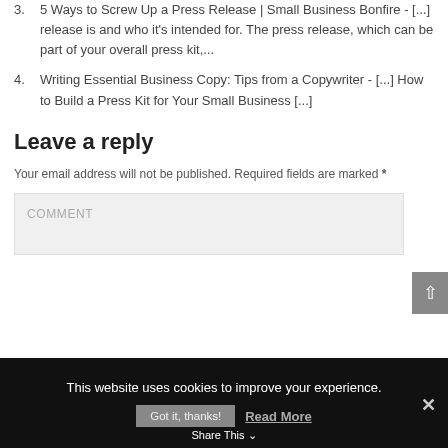3. 5 Ways to Screw Up a Press Release | Small Business Bonfire - [...] release is and who it’s intended for. The press release, which can be part of your overall press kit,...
4. Writing Essential Business Copy: Tips from a Copywriter - [...] How to Build a Press Kit for Your Small Business [...]
Leave a reply
Your email address will not be published. Required fields are marked *
COMMENT
This website uses cookies to improve your experience.
Got it, thanks!
Read More
Share This